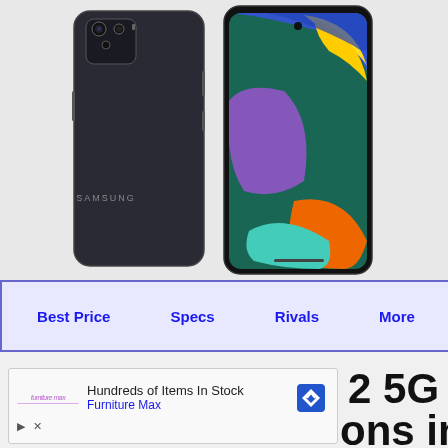[Figure (photo): Two Samsung smartphones shown front and back. The back of a dark/black Samsung phone is shown on the left. The front of a Samsung Galaxy phone with a colorful abstract wallpaper (blue, yellow, purple, orange, teal swirls) is shown on the right.]
| Best Price | Specs | Rivals | More |
| --- | --- | --- | --- |
[Figure (screenshot): Advertisement box: Hundreds of Items In Stock - Furniture Max, with a blue diamond navigation icon on the right, and play/close controls on the lower left.]
2 5G
ons in